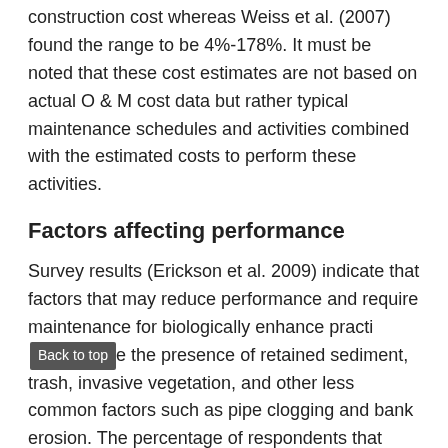construction cost whereas Weiss et al. (2007) found the range to be 4%-178%. It must be noted that these cost estimates are not based on actual O & M cost data but rather typical maintenance schedules and activities combined with the estimated costs to perform these activities.
Factors affecting performance
Survey results (Erickson et al. 2009) indicate that factors that may reduce performance and require maintenance for biologically enhance practices include the presence of retained sediment, trash, invasive vegetation, and other less common factors such as pipe clogging and bank erosion. The percentage of respondents that indicated these and other issues frequently caused deterioration of performance are